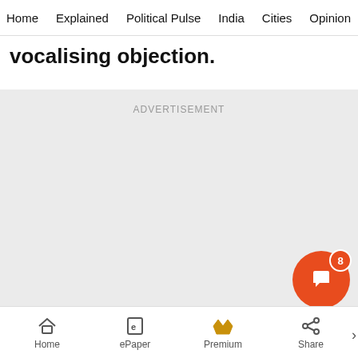Home | Explained | Political Pulse | India | Cities | Opinion | Entertainment
vocalising objection.
[Figure (other): Advertisement placeholder — grey rectangle with 'ADVERTISEMENT' label]
Home | ePaper | Premium | Share | STORY